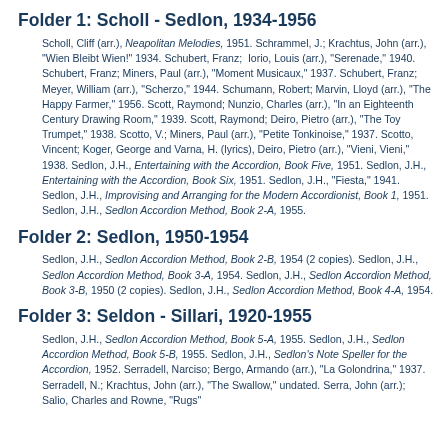Folder 1: Scholl - Sedlon, 1934-1956
Scholl, Cliff (arr.), Neapolitan Melodies, 1951. Schrammel, J.; Krachtus, John (arr.), "Wien Bleibt Wien!" 1934. Schubert, Franz;  Iorio, Louis (arr.), "Serenade," 1940. Schubert, Franz; Miners, Paul (arr.), "Moment Musicaux," 1937. Schubert, Franz; Meyer, William (arr.), "Scherzo," 1944. Schumann, Robert; Marvin, Lloyd (arr.), "The Happy Farmer," 1956. Scott, Raymond; Nunzio, Charles (arr.), "In an Eighteenth Century Drawing Room," 1939. Scott, Raymond; Deiro, Pietro (arr.), "The Toy Trumpet," 1938. Scotto, V.; Miners, Paul (arr.), "Petite Tonkinoise," 1937. Scotto, Vincent; Koger, George and Varna, H. (lyrics), Deiro, Pietro (arr.), "Vieni, Vieni," 1938. Sedlon, J.H., Entertaining with the Accordion, Book Five, 1951. Sedlon, J.H., Entertaining with the Accordion, Book Six, 1951. Sedlon, J.H., "Fiesta," 1941. Sedlon, J.H., Improvising and Arranging for the Modern Accordionist, Book 1, 1951. Sedlon, J.H., Sedlon Accordion Method, Book 2-A, 1955.
Folder 2: Sedlon, 1950-1954
Sedlon, J.H., Sedlon Accordion Method, Book 2-B, 1954 (2 copies). Sedlon, J.H., Sedlon Accordion Method, Book 3-A, 1954. Sedlon, J.H., Sedlon Accordion Method, Book 3-B, 1950 (2 copies). Sedlon, J.H., Sedlon Accordion Method, Book 4-A, 1954.
Folder 3: Seldon - Sillari, 1920-1955
Sedlon, J.H., Sedlon Accordion Method, Book 5-A, 1955. Sedlon, J.H., Sedlon Accordion Method, Book 5-B, 1955. Sedlon, J.H., Sedlon's Note Speller for the Accordion, 1952. Serradell, Narciso; Bergo, Armando (arr.), "La Golondrina," 1937. Serradell, N.; Krachtus, John (arr.), "The Swallow," undated. Serra, John (arr.); Salio, Charles and Rowne, "Rugs"